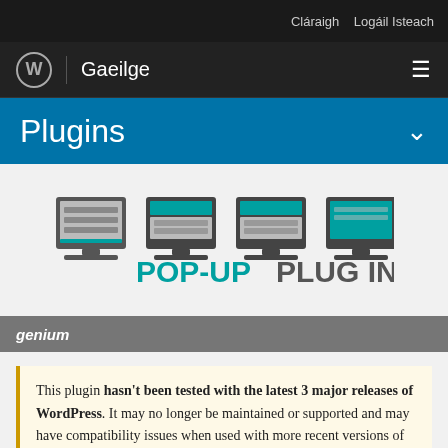Cláraigh   Logáil Isteach
Gaeilge
Plugins
[Figure (illustration): Four monitor icons showing responsive design screens with teal/grey color scheme, with bold text POP-UP PLUG IN below them]
genium
This plugin hasn't been tested with the latest 3 major releases of WordPress. It may no longer be maintained or supported and may have compatibility issues when used with more recent versions of WordPress.